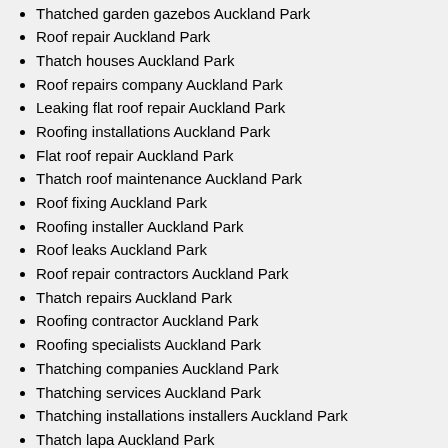Thatched garden gazebos Auckland Park
Roof repair Auckland Park
Thatch houses Auckland Park
Roof repairs company Auckland Park
Leaking flat roof repair Auckland Park
Roofing installations Auckland Park
Flat roof repair Auckland Park
Thatch roof maintenance Auckland Park
Roof fixing Auckland Park
Roofing installer Auckland Park
Roof leaks Auckland Park
Roof repair contractors Auckland Park
Thatch repairs Auckland Park
Roofing contractor Auckland Park
Roofing specialists Auckland Park
Thatching companies Auckland Park
Thatching services Auckland Park
Thatching installations installers Auckland Park
Thatch lapa Auckland Park
Roofing repairs Auckland Park
Roof repairs companies Auckland Park
Thatched lapa Auckland Park
Slate roofing repairs Auckland Park
Roof thatchers Auckland Park
Thatching contractors Auckland Park
Roof specialists Auckland Park
Roof repairs Auckland Park